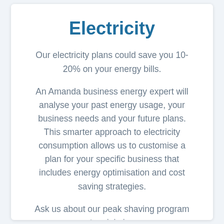Electricity
Our electricity plans could save you 10-20% on your energy bills.
An Amanda business energy expert will analyse your past energy usage, your business needs and your future plans. This smarter approach to electricity consumption allows us to customise a plan for your specific business that includes energy optimisation and cost saving strategies.
Ask us about our peak shaving program to minimise